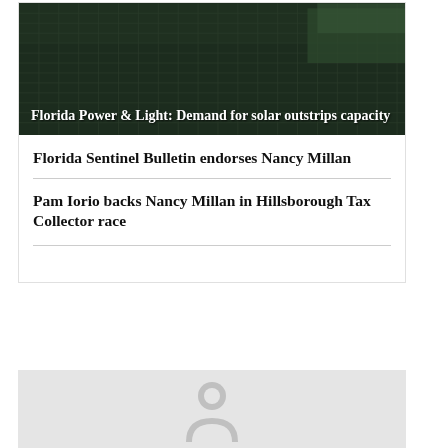[Figure (photo): Aerial view of a large solar panel farm with dark panels arranged in rows, taken from above]
Florida Power & Light: Demand for solar outstrips capacity
Florida Sentinel Bulletin endorses Nancy Millan
Pam Iorio backs Nancy Millan in Hillsborough Tax Collector race
[Figure (illustration): Default user avatar placeholder icon — gray circle with a person silhouette on a light gray background]